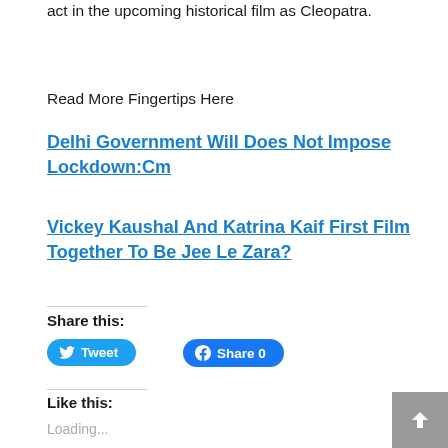act in the upcoming historical film as Cleopatra.
Read More Fingertips Here
Delhi Government Will Does Not Impose Lockdown:Cm
Vickey Kaushal And Katrina Kaif First Film Together To Be Jee Le Zara?
Share this:
Tweet
Share 0
Like this:
Loading...